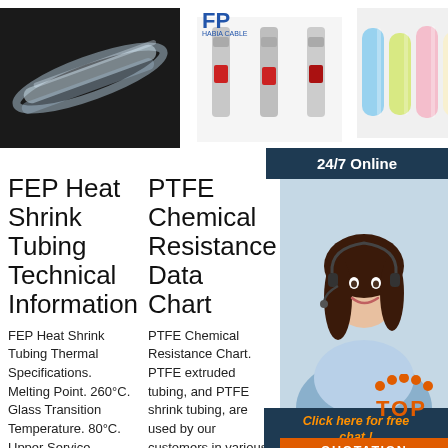[Figure (photo): Close-up of clear FEP heat shrink tubing on dark background]
[Figure (photo): Three solder sleeve connectors with red indicator bands]
[Figure (photo): Four colored heat shrink tube samples: blue, yellow, pink, clear]
24/7 Online
[Figure (photo): Customer service woman with headset smiling]
Click here for free chat !
QUOTATION
FEP Heat Shrink Tubing Technical Information
PTFE Chemical Resistance Data Chart
Opti Dua Hea Shri Tub
FEP Heat Shrink Tubing Thermal Specifications. Melting Point. 260°C. Glass Transition Temperature. 80°C. Upper Service
PTFE Chemical Resistance Chart. PTFE extruded tubing, and PTFE shrink tubing, are used by our customers in various industries and in different
2021-6 23u200 Dual Wall Heat Shrink Tubing has a standard wall configuration that fits most industrial applications. However, we can